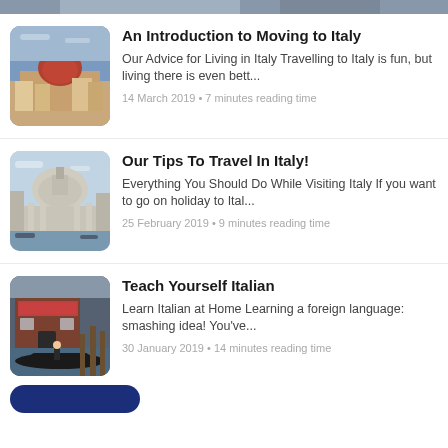[Figure (photo): Partial top image cropped at top of page]
An Introduction to Moving to Italy
Our Advice for Living in Italy Travelling to Italy is fun, but living there is even bett...
14 March 2019 • 7 minutes reading time
[Figure (photo): Photo of Santa Maria della Salute basilica in Venice, Italy]
Our Tips To Travel In Italy!
Everything You Should Do While Visiting Italy If you want to go on holiday to Ital...
25 February 2019 • 9 minutes reading time
[Figure (photo): Photo of gondola and waterfront building in Venice, Italy]
Teach Yourself Italian
Learn Italian at Home Learning a foreign language: smashing idea! You've...
30 January 2019 • 14 minutes reading time